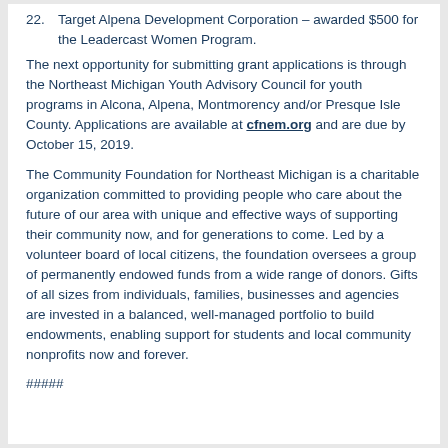22. Target Alpena Development Corporation – awarded $500 for the Leadercast Women Program.
The next opportunity for submitting grant applications is through the Northeast Michigan Youth Advisory Council for youth programs in Alcona, Alpena, Montmorency and/or Presque Isle County. Applications are available at cfnem.org and are due by October 15, 2019.
The Community Foundation for Northeast Michigan is a charitable organization committed to providing people who care about the future of our area with unique and effective ways of supporting their community now, and for generations to come. Led by a volunteer board of local citizens, the foundation oversees a group of permanently endowed funds from a wide range of donors. Gifts of all sizes from individuals, families, businesses and agencies are invested in a balanced, well-managed portfolio to build endowments, enabling support for students and local community nonprofits now and forever.
#####